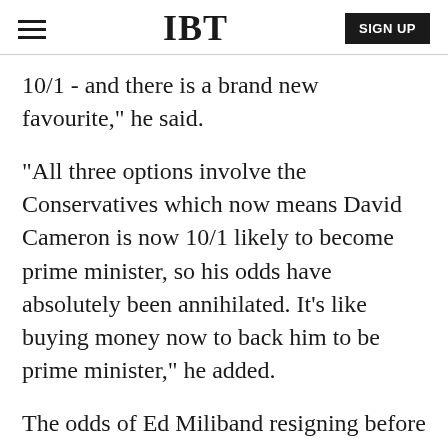IBT | SIGN UP
10/1 - and there is a brand new favourite," he said.
"All three options involve the Conservatives which now means David Cameron is now 10/1 likely to become prime minister, so his odds have absolutely been annihilated. It's like buying money now to back him to be prime minister," he added.
The odds of Ed Miliband resigning before midnight tomorrow are now just 6/4.
23:36 PM BST